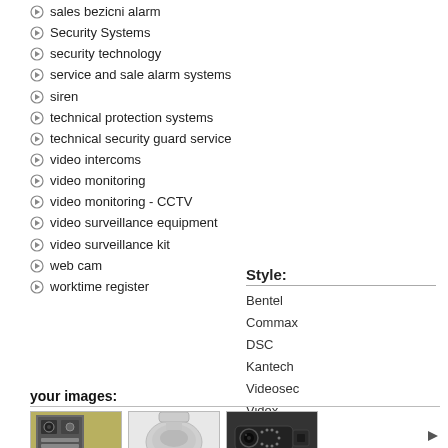sales bezicni alarm
Security Systems
security technology
service and sale alarm systems
siren
technical protection systems
technical security guard service
video intercoms
video monitoring
video monitoring - CCTV
video surveillance equipment
video surveillance kit
web cam
worktime register
Style:
Bentel
Commax
DSC
Kantech
Videosec
Videx
your images:
[Figure (photo): Intercom panel device]
[Figure (photo): Round dome camera or sensor, light grey]
[Figure (photo): Black bullet/barrel security camera]